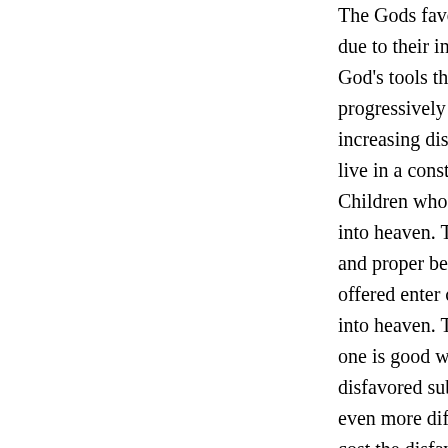The Gods favor the children mo... due to their innocence and purit... God's tools therein are corruptin... progressively younger age, a ref... increasing disfavor and yet anot... live in a constantly deteriorating... Children who fix their problems... into heaven. This often takes mu... and proper behavior to achieve.... offered enter clone hosting, thin... into heaven. The Gods sell them... one is good while the other is ev... disfavored subscribe to this tem... even more difficult than before.... cost the disfavored, for they wil... lesser life form into an ever dete... becoming ever more alluding w... The hole they've dug for themse...